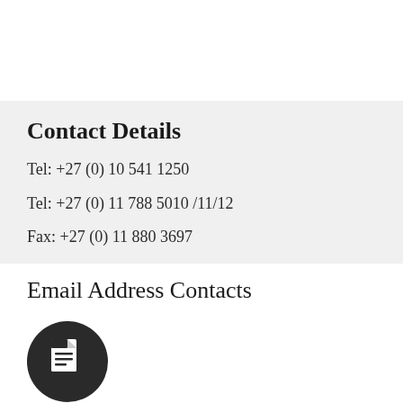Contact Details
Tel: +27 (0) 10 541 1250
Tel: +27 (0) 11 788 5010 /11/12
Fax: +27 (0) 11 880 3697
Email Address Contacts
[Figure (illustration): Dark circular icon with a document/file symbol in white]
Accounts